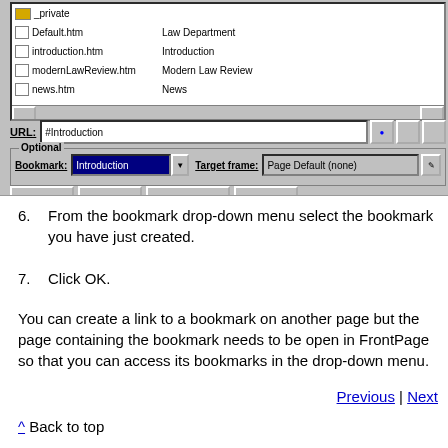[Figure (screenshot): FrontPage dialog box showing a file list with _private folder, Default.htm (Law Department), introduction.htm (Introduction), modernLawReview.htm (Modern Law Review), news.htm (News), a URL field showing #Introduction, and an Optional section with Bookmark field showing 'Introduction' and Target frame showing 'Page Default (none)', along with OK, Cancel, Parameters, and Style buttons.]
6. From the bookmark drop-down menu select the bookmark you have just created.
7. Click OK.
You can create a link to a bookmark on another page but the page containing the bookmark needs to be open in FrontPage so that you can access its bookmarks in the drop-down menu.
Previous | Next
^ Back to top